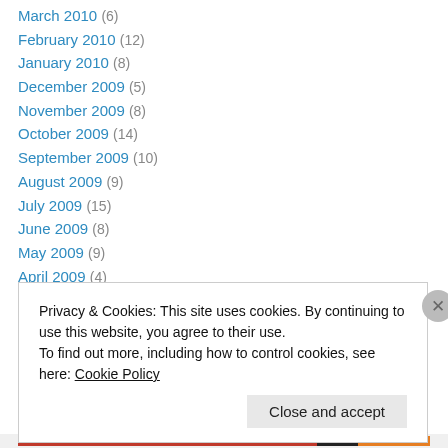March 2010 (6)
February 2010 (12)
January 2010 (8)
December 2009 (5)
November 2009 (8)
October 2009 (14)
September 2009 (10)
August 2009 (9)
July 2009 (15)
June 2009 (8)
May 2009 (9)
April 2009 (4)
March 2009 (1)
February 2009 (2)
Privacy & Cookies: This site uses cookies. By continuing to use this website, you agree to their use. To find out more, including how to control cookies, see here: Cookie Policy